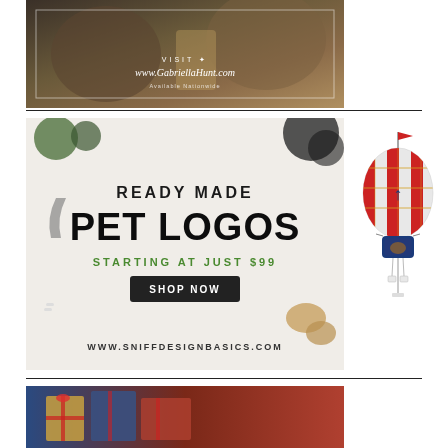[Figure (photo): Advertisement photo showing hands and a cooking/grooming scene with a dark teal overlay. Text reads VISIT www.GabriellaHunt.com]
[Figure (photo): Ready Made Pet Logos advertisement banner. White background with pet accessories, food items scattered. Text: READY MADE PET LOGOS STARTING AT JUST $99 SHOP NOW www.sniffdesignbasics.com]
[Figure (illustration): Decorative hot air balloon illustration with red and white stripes, anchor symbol, small animal in basket, dangling tags]
[Figure (photo): Partial photo showing wrapped gift boxes with red ribbon and brown paper]